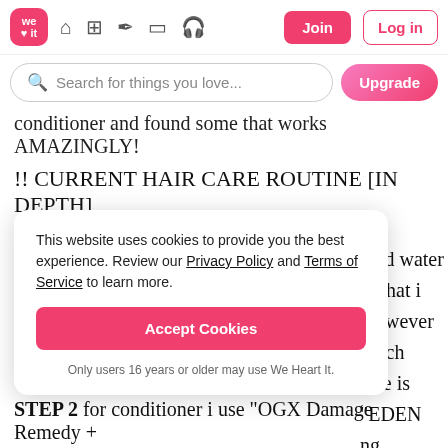[Figure (screenshot): We Heart It website navigation bar with logo, home, grid, feather, rectangle, headphone icons, Join button and Log in button]
[Figure (screenshot): Search bar with placeholder 'Search for things you love...' and Upgrade button]
conditioner and found some that works AMAZINGLY!
!! CURRENT HAIR CARE ROUTINE [IN DEPTH]
first of all, i brush my hair before i get into the shower.
This website uses cookies to provide you the best experience. Review our Privacy Policy and Terms of Service to learn more.
Accept Cookies
Only users 16 years or older may use We Heart It.
cold water ( what i however much use is "EDEN ng Shampoo" and ver get frizz and it ny hair. I don't er my hair if that
STEP 2 for conditioner i use "OGX Damage Remedy +